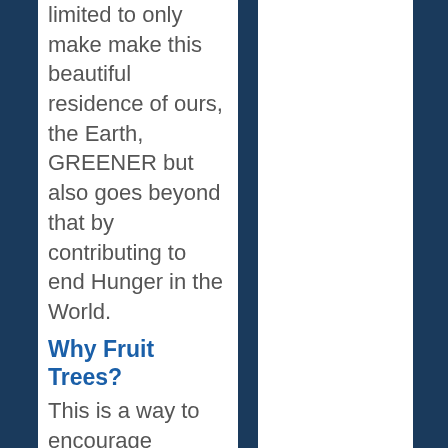limited to only make make this beautiful residence of ours, the Earth, GREENER but also goes beyond that by contributing to end Hunger in the World.
Why Fruit Trees?
This is a way to encourage residents of these areas to consume fruits which are very beneficial to our human health, and